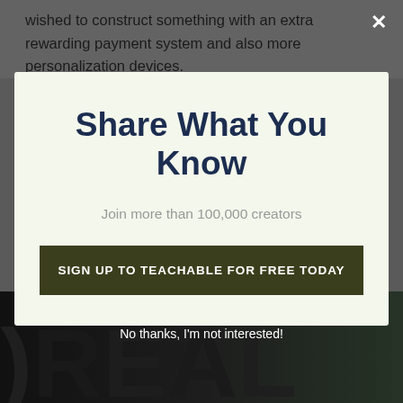wished to construct something with an extra rewarding payment system and also more personalization devices.
Share What You Know
Join more than 100,000 creators
SIGN UP TO TEACHABLE FOR FREE TODAY
No thanks, I'm not interested!